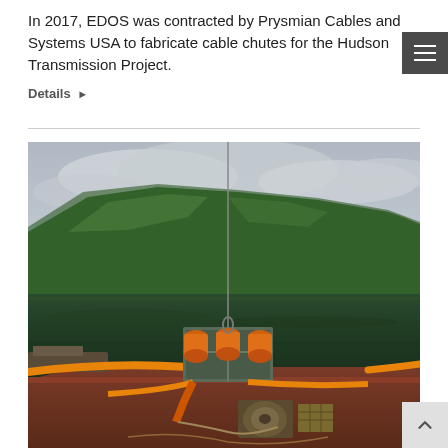In 2017, EDOS was contracted by Prysmian Cables and Systems USA to fabricate cable chutes for the Hudson Transmission Project.
Details ▶
[Figure (photo): Photograph of a barge on a calm green lake surrounded by forested hills under a cloudy sky. In the foreground, orange cable chute equipment with orange cylindrical floats is mounted on a metal frame on the barge deck. Orange cables/hoses extend across the water. A crane hook is visible above the equipment.]